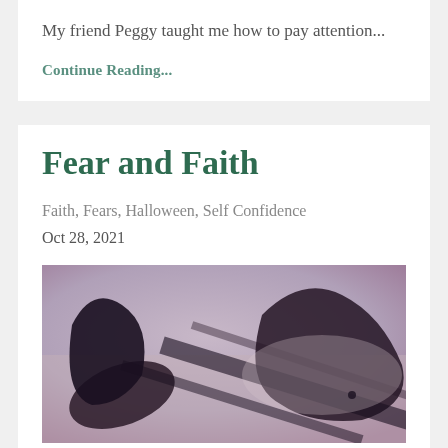My friend Peggy taught me how to pay attention...
Continue Reading...
Fear and Faith
Faith, Fears, Halloween, Self Confidence
Oct 28, 2021
[Figure (photo): Shadow photograph showing dark silhouettes of figures cast on a sandy or ground surface, appearing to show a person and their shadow in dramatic lighting]